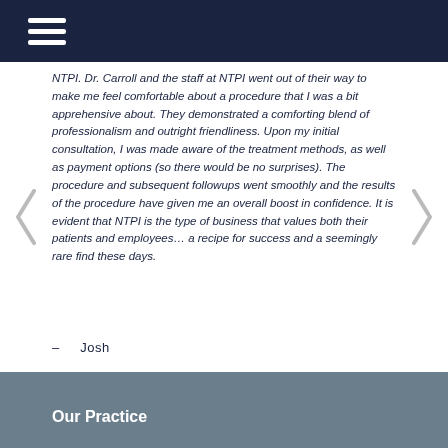NTPI. Dr. Carroll and the staff at NTPI went out of their way to make me feel comfortable about a procedure that I was a bit apprehensive about. They demonstrated a comforting blend of professionalism and outright friendliness. Upon my initial consultation, I was made aware of the treatment methods, as well as payment options (so there would be no surprises). The procedure and subsequent followups went smoothly and the results of the procedure have given me an overall boost in confidence. It is evident that NTPI is the type of business that values both their patients and employees… a recipe for success and a seemingly rare find these days.
– Josh
Our Practice